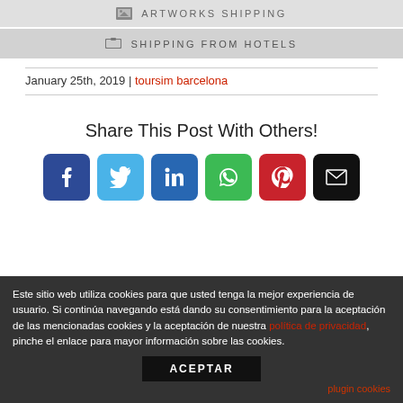ARTWORKS SHIPPING
SHIPPING FROM HOTELS
January 25th, 2019 | toursim barcelona
Share This Post With Others!
[Figure (infographic): Six social share buttons: Facebook, Twitter, LinkedIn, WhatsApp, Pinterest, Email]
Este sitio web utiliza cookies para que usted tenga la mejor experiencia de usuario. Si continúa navegando está dando su consentimiento para la aceptación de las mencionadas cookies y la aceptación de nuestra política de privacidad, pinche el enlace para mayor información sobre las cookies.
ACEPTAR
plugin cookies